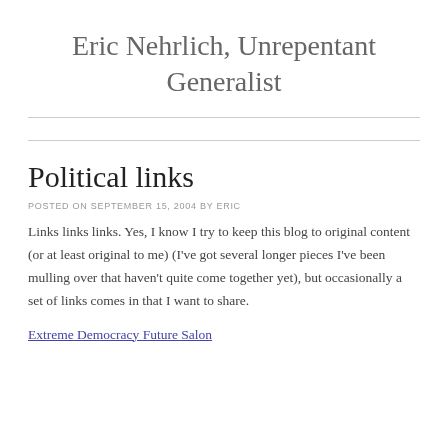Eric Nehrlich, Unrepentant Generalist
Political links
POSTED ON SEPTEMBER 15, 2004 BY ERIC
Links links links. Yes, I know I try to keep this blog to original content (or at least original to me) (I've got several longer pieces I've been mulling over that haven't quite come together yet), but occasionally a set of links comes in that I want to share.
Extreme Democracy Future Salon